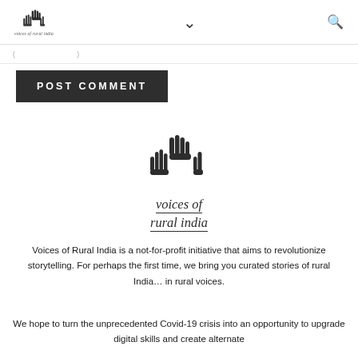voices of rural india — navigation header with logo, chevron, and search icon
(partial breadcrumb/navigation text)
POST COMMENT
[Figure (logo): Voices of Rural India logo — three raised hands silhouette above stylized text 'voices of rural india' in italic serif with underline decoration]
Voices of Rural India is a not-for-profit initiative that aims to revolutionize storytelling. For perhaps the first time, we bring you curated stories of rural India... in rural voices.
We hope to turn the unprecedented Covid-19 crisis into an opportunity to upgrade digital skills and create alternate